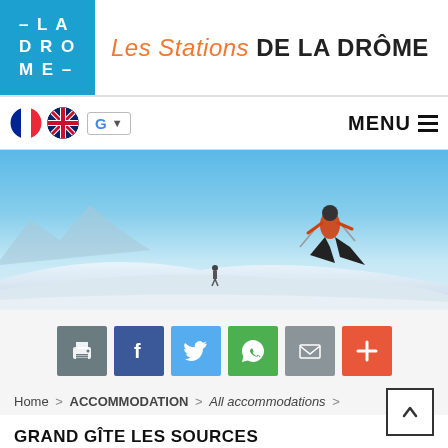[Figure (logo): La Drôme blue logo box with text -LA DR O ME- in white, and header text 'Les Stations DE LA DRÔME']
[Figure (screenshot): Navigation bar with French flag, UK flag, Google translate widget, and MENU hamburger icon]
[Figure (photo): Skier jumping in the air on a snowy slope with blue sky background, another person visible in background]
[Figure (infographic): Social sharing buttons: print (grey), Facebook (blue), Twitter (light blue), WhatsApp (green), email (grey), plus (orange-red)]
Home > ACCOMMODATION > All accommodations >
GRAND GÎTE LES SOURCES